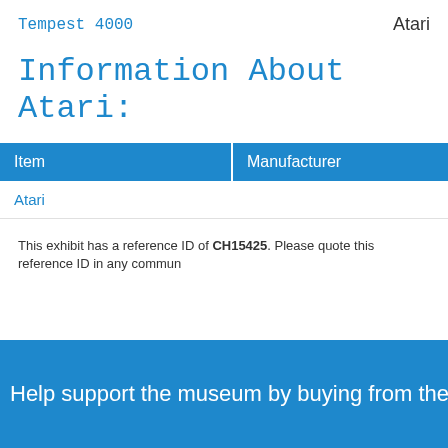Tempest 4000    Atari
Information About Atari:
| Item | Manufacturer |
| --- | --- |
| Atari |  |
This exhibit has a reference ID of CH15425. Please quote this reference ID in any commun
Help support the museum by buying from the museum shop